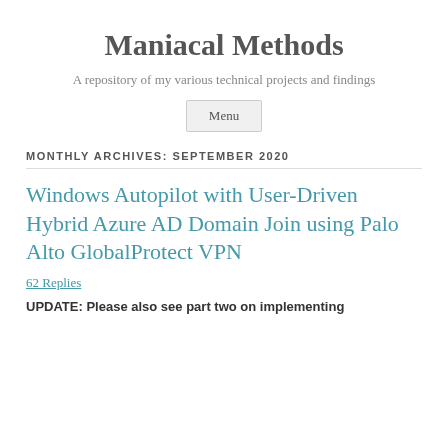Maniacal Methods
A repository of my various technical projects and findings
Menu
MONTHLY ARCHIVES: SEPTEMBER 2020
Windows Autopilot with User-Driven Hybrid Azure AD Domain Join using Palo Alto GlobalProtect VPN
62 Replies
UPDATE: Please also see part two on implementing